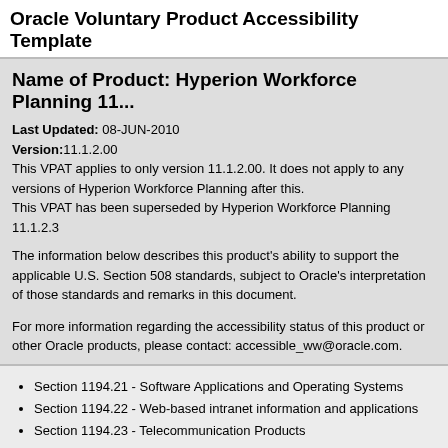Oracle Voluntary Product Accessibility Template
Name of Product: Hyperion Workforce Planning 11...
Last Updated: 08-JUN-2010
Version:11.1.2.00
This VPAT applies to only version 11.1.2.00. It does not apply to any versions of Hyperion Workforce Planning after this.
This VPAT has been superseded by Hyperion Workforce Planning 11.1.2.3
The information below describes this product's ability to support the applicable U.S. Section 508 standards, subject to Oracle's interpretation of those standards and remarks in this document.
For more information regarding the accessibility status of this product or other Oracle products, please contact: accessible_ww@oracle.com.
Section 1194.21 - Software Applications and Operating Systems
Section 1194.22 - Web-based intranet information and applications
Section 1194.23 - Telecommunication Products
Section 1194.24 - Video and Multi-media Products
Section 1194.25 - Self-Contained, Closed Products
Section 1194.26 - Desktop and Portable Computers
Section 1194.31 - Functional Performance Criteria
Section 1194.41 - Information, Documentation and Support
Dependent Products